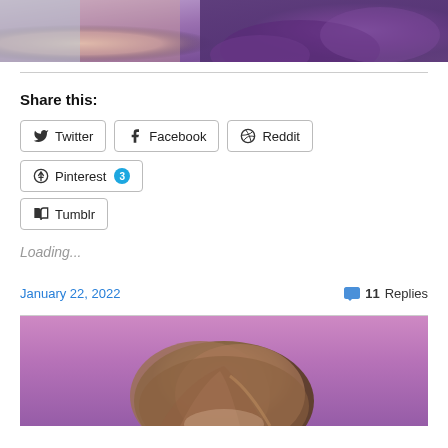[Figure (photo): Top portion of a photo showing a person in purple lace clothing against a light blue background]
Share this:
Twitter
Facebook
Reddit
Pinterest 3
Tumblr
Loading...
January 22, 2022
11 Replies
[Figure (photo): Bottom portion showing top of a person's head with brown/auburn hair against a pink/purple background]